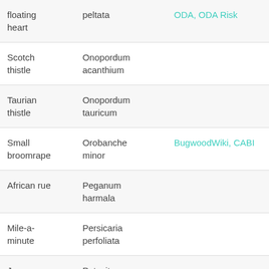| Common name | Scientific name | Resources |
| --- | --- | --- |
| floating heart | peltata | ODA, ODA Risk |
| Scotch thistle | Onopordum acanthium |  |
| Taurian thistle | Onopordum tauricum |  |
| Small broomrape | Orobanche minor | BugwoodWiki, CABI |
| African rue | Peganum harmala |  |
| Mile-a-minute | Persicaria perfoliata |  |
| Japanese butterbur | Petasites japonica |  |